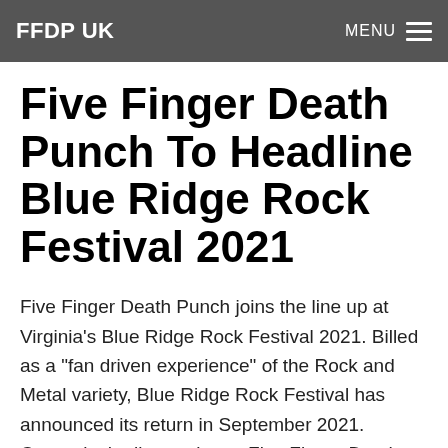FFDP UK
Five Finger Death Punch To Headline Blue Ridge Rock Festival 2021
Five Finger Death Punch joins the line up at Virginia's Blue Ridge Rock Festival 2021. Billed as a "fan driven experience" of the Rock and Metal variety, Blue Ridge Rock Festival has announced its return in September 2021. Currently the line-up boast Five Finger Death Punch, Fozzy, Sevendust, Nonpoint, Another Day Dawns, Fire From the